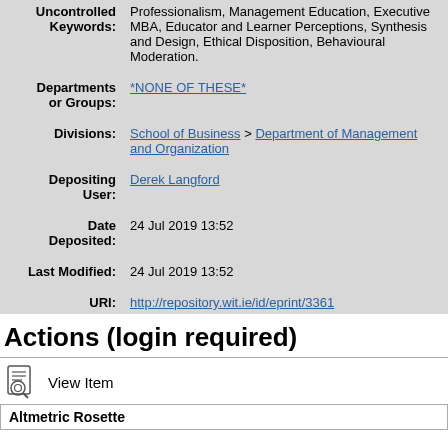| Uncontrolled Keywords: | Professionalism, Management Education, Executive MBA, Educator and Learner Perceptions, Synthesis and Design, Ethical Disposition, Behavioural Moderation. |
| Departments or Groups: | *NONE OF THESE* |
| Divisions: | School of Business > Department of Management and Organization |
| Depositing User: | Derek Langford |
| Date Deposited: | 24 Jul 2019 13:52 |
| Last Modified: | 24 Jul 2019 13:52 |
| URI: | http://repository.wit.ie/id/eprint/3361 |
Actions (login required)
View Item
Altmetric Rosette
SETU Waterford Libraries Open Access Repository is powered by EPrints 3.4 which is developed by the School of Electronics and Computer Science at the University of Southampton. About EPrints | Accessibility